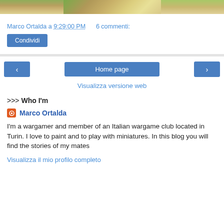[Figure (photo): Partial view of a wargame table with miniatures and terrain, cropped at top of page]
Marco Ortalda a 9:29:00 PM    6 commenti:
Condividi
‹    Home page    ›
Visualizza versione web
>>> Who I'm
Marco Ortalda
I'm a wargamer and member of an Italian wargame club located in Turin. I love to paint and to play with miniatures. In this blog you will find the stories of my mates
Visualizza il mio profilo completo